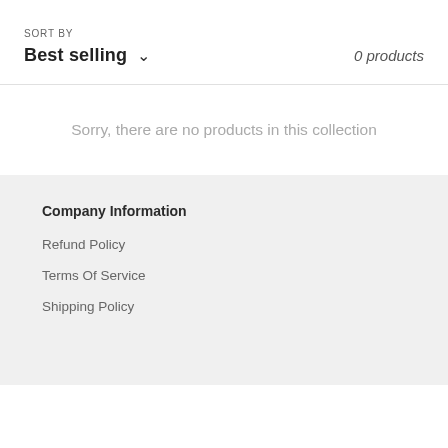SORT BY
Best selling ∨
0 products
Sorry, there are no products in this collection
Company Information
Refund Policy
Terms Of Service
Shipping Policy